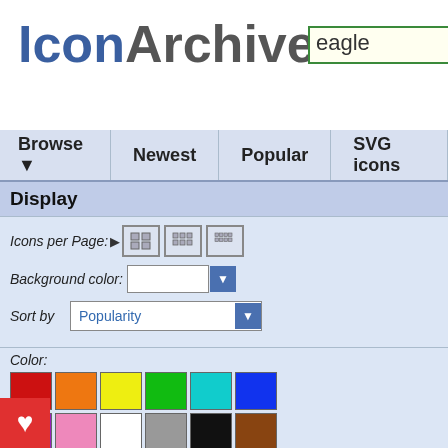IconArchive
eagle (search box)
Browse ▼   Newest   Popular   SVG icons
Display
Icons per Page:
Background color:
Sort by   Popularity
Color:
All Colors
Search Filters
Size: 48 x 48px
Category: Kid
e: Hand-Drawn
Results 1-0 of 0 for search term '...
Your search for »eagle« did no...
► If you agree to remove the fi...
Results 1-0 of 0 for search term '...